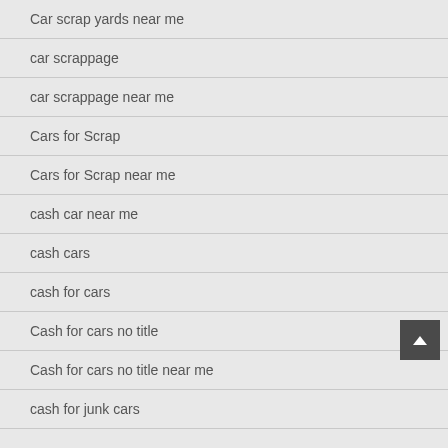Car scrap yards near me
car scrappage
car scrappage near me
Cars for Scrap
Cars for Scrap near me
cash car near me
cash cars
cash for cars
Cash for cars no title
Cash for cars no title near me
cash for junk cars